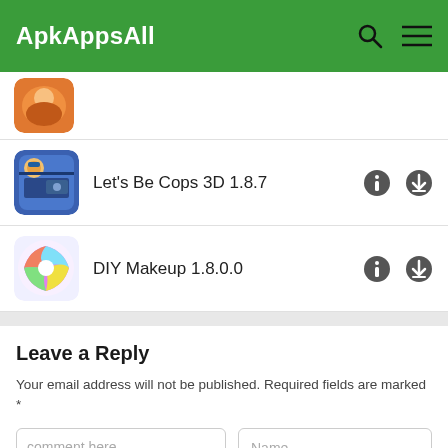ApkAppsAll
[Figure (screenshot): Partially visible app icon at top]
Let's Be Cops 3D 1.8.7
DIY Makeup 1.8.0.0
Leave a Reply
Your email address will not be published. Required fields are marked *
comment here...
Name
Email
Website / url